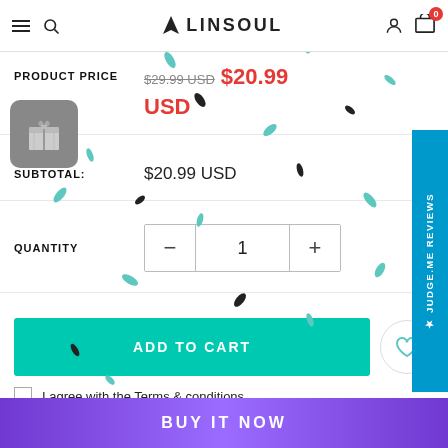LINSOUL — Navigation header with hamburger, search, logo, user icon, cart (0)
PRODUCT PRICE  $29.99 USD  $20.99 USD
SUBTOTAL:  $20.99 USD
QUANTITY  1
ADD TO CART
I agree with the Terms & conditions
BUY IT NOW